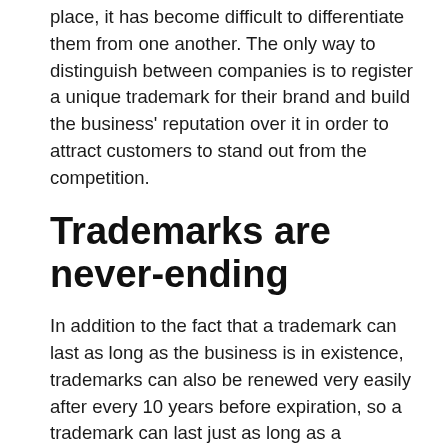place, it has become difficult to differentiate them from one another. The only way to distinguish between companies is to register a unique trademark for their brand and build the business' reputation over it in order to attract customers to stand out from the competition.
Trademarks are never-ending
In addition to the fact that a trademark can last as long as the business is in existence, trademarks can also be renewed very easily after every 10 years before expiration, so a trademark can last just as long as a business does.
Trademarks act as a shield
Every entrepreneur must ensure that his/her brand is protected from competition in order to succeed. In the event, however, that the trademark that the individual is